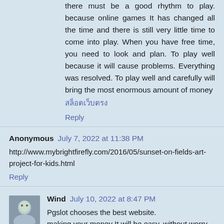there must be a good rhythm to play. because online games It has changed all the time and there is still very little time to come into play. When you have free time, you need to look and plan. To play well because it will cause problems. Everything was resolved. To play well and carefully will bring the most enormous amount of money
สล็อตเว็บตรง
Reply
Anonymous July 7, 2022 at 11:38 PM
http://www.mybrightfirefly.com/2016/05/sunset-on-fields-art-project-for-kids.html
Reply
Wind July 10, 2022 at 8:47 PM
Pgslot chooses the best website.
making your money It will be easy. without worry that we will be able to withdraw the money or whether the deposit has been deducted Can we get it back out? To play is you